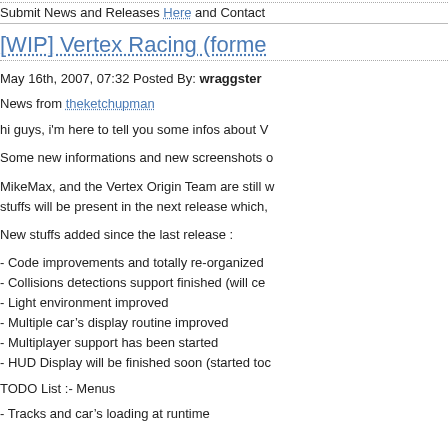Submit News and Releases Here and Contact
[WIP] Vertex Racing (forme
May 16th, 2007, 07:32 Posted By: wraggster
News from theketchupman
hi guys, i'm here to tell you some infos about V
Some new informations and new screenshots o
MikeMax, and the Vertex Origin Team are still w stuffs will be present in the next release which,
New stuffs added since the last release :
- Code improvements and totally re-organized
- Collisions detections support finished (will ce
- Light environment improved
- Multiple car's display routine improved
- Multiplayer support has been started
- HUD Display will be finished soon (started toc
TODO List :- Menus
- Tracks and car's loading at runtime